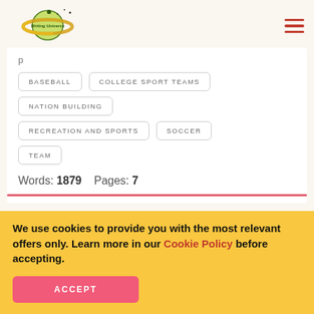[Figure (logo): Writing Universe logo — planet with rings and a pencil, yellow-green colors]
BASEBALL
COLLEGE SPORT TEAMS
NATION BUILDING
RECREATION AND SPORTS
SOCCER
TEAM
Words: 1879    Pages: 7
We use cookies to provide you with the most relevant offers only. Learn more in our Cookie Policy before accepting.
ACCEPT